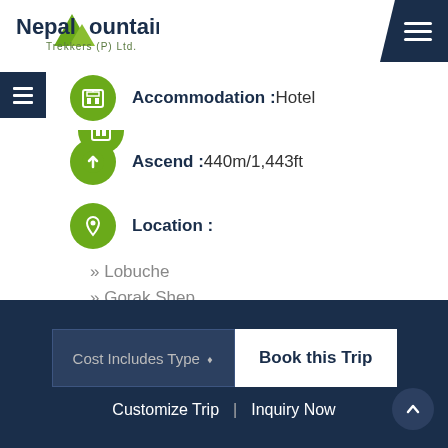Nepal Mountain Trekkers (P) Ltd.
Accommodation: Hotel
Ascend: 440m/1,443ft
Location:
» Lobuche
» Gorak Shep
» Everest Base Camp
Highlights:
Cost Includes Type | Book this Trip | Customize Trip | Inquiry Now